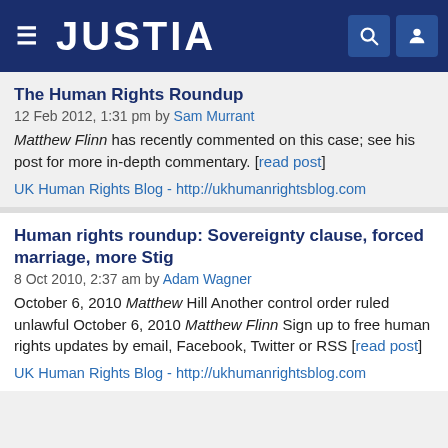JUSTIA
The Human Rights Roundup
12 Feb 2012, 1:31 pm by Sam Murrant
Matthew Flinn has recently commented on this case; see his post for more in-depth commentary. [read post]
UK Human Rights Blog - http://ukhumanrightsblog.com
Human rights roundup: Sovereignty clause, forced marriage, more Stig
8 Oct 2010, 2:37 am by Adam Wagner
October 6, 2010 Matthew Hill Another control order ruled unlawful October 6, 2010 Matthew Flinn Sign up to free human rights updates by email, Facebook, Twitter or RSS [read post]
UK Human Rights Blog - http://ukhumanrightsblog.com